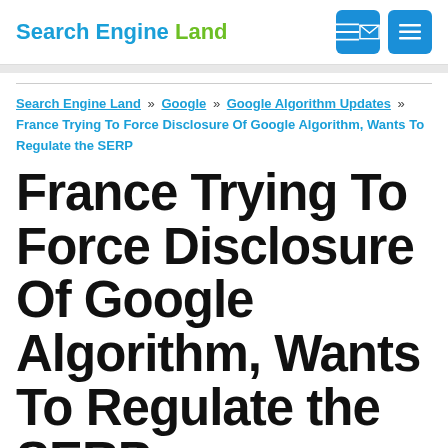Search Engine Land
Search Engine Land » Google » Google Algorithm Updates » France Trying To Force Disclosure Of Google Algorithm, Wants To Regulate the SERP
France Trying To Force Disclosure Of Google Algorithm, Wants To Regulate the SERP
Not waiting for the European